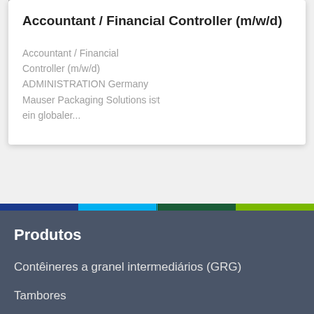Accountant / Financial Controller (m/w/d)
Accountant / Financial Controller (m/w/d)
ADMINISTRATION Germany
Mauser Packaging Solutions ist ein globaler...
Produtos
Contêineres a granel intermediários (GRG)
Tambores